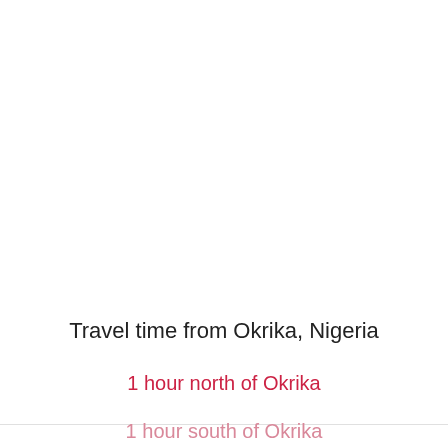Travel time from Okrika, Nigeria
1 hour north of Okrika
1 hour south of Okrika
1 hour east of Okrika